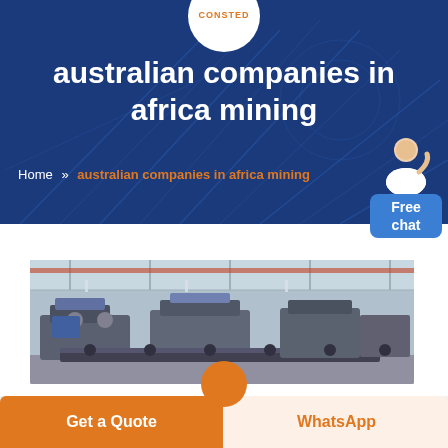CONSTED
australian companies in africa mining
Home » australian companies in africa mining
[Figure (photo): Industrial factory floor with heavy mining equipment and machinery, large warehouse interior with overhead lighting]
Get a Quote
WhatsApp